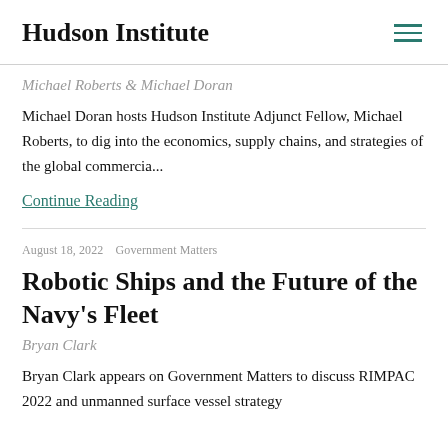Hudson Institute
Michael Roberts & Michael Doran
Michael Doran hosts Hudson Institute Adjunct Fellow, Michael Roberts, to dig into the economics, supply chains, and strategies of the global commercia...
Continue Reading
August 18, 2022   Government Matters
Robotic Ships and the Future of the Navy's Fleet
Bryan Clark
Bryan Clark appears on Government Matters to discuss RIMPAC 2022 and unmanned surface vessel strategy